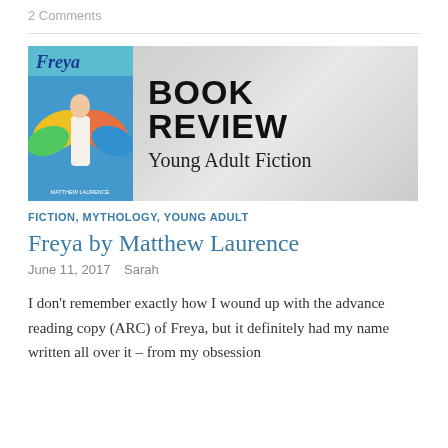2 Comments
[Figure (illustration): Book review banner image showing the cover of 'Freya' by Matthew Laurence on the left with a colorful painted figure with wings, and large bold text 'BOOK REVIEW' with subtitle 'Young Adult Fiction' on a grey watercolor background.]
FICTION, MYTHOLOGY, YOUNG ADULT
Freya by Matthew Laurence
June 11, 2017   Sarah
I don't remember exactly how I wound up with the advance reading copy (ARC) of Freya, but it definitely had my name written all over it – from my obsession